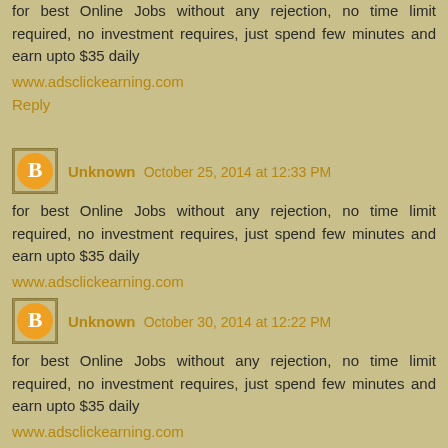for best Online Jobs without any rejection, no time limit required, no investment requires, just spend few minutes and earn upto $35 daily
www.adsclickearning.com
Reply
Unknown October 25, 2014 at 12:33 PM
for best Online Jobs without any rejection, no time limit required, no investment requires, just spend few minutes and earn upto $35 daily
www.adsclickearning.com
Reply
Unknown October 30, 2014 at 12:22 PM
for best Online Jobs without any rejection, no time limit required, no investment requires, just spend few minutes and earn upto $35 daily
www.adsclickearning.com
Reply